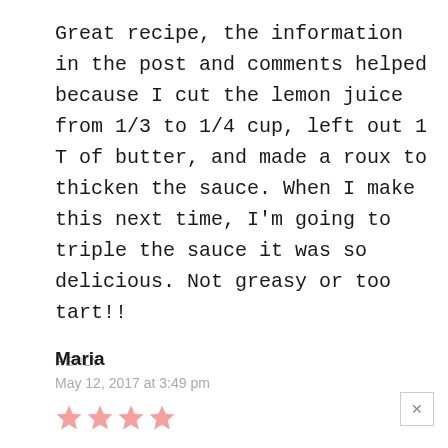Great recipe, the information in the post and comments helped because I cut the lemon juice from 1/3 to 1/4 cup, left out 1 T of butter, and made a roux to thicken the sauce. When I make this next time, I'm going to triple the sauce it was so delicious. Not greasy or too tart!!
REPLY
Maria
May 12, 2017 at 3:49 pm